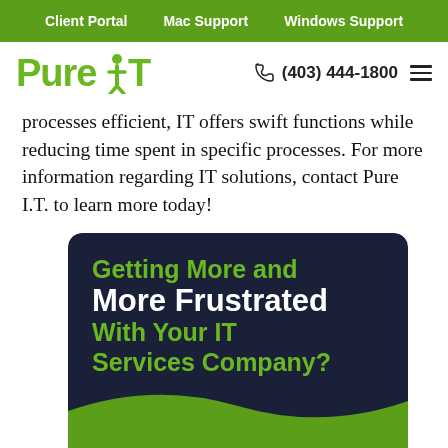Client Portal  Mac Support  Windows Support
Pure IT  (403) 444-1800
processes efficient, IT offers swift functions while reducing time spent in specific processes. For more information regarding IT solutions, contact Pure I.T. to learn more today!
[Figure (illustration): Dark navy and green promotional banner with text: 'Getting More and More Frustrated With Your IT Services Company?' and 'Fill out the form below to schedule a no-obligation']